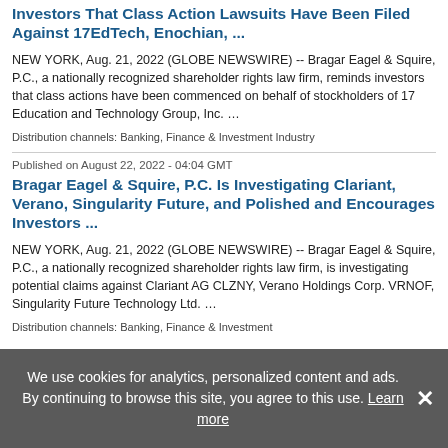Investors That Class Action Lawsuits Have Been Filed Against 17EdTech, Enochian, ...
NEW YORK, Aug. 21, 2022 (GLOBE NEWSWIRE) -- Bragar Eagel & Squire, P.C., a nationally recognized shareholder rights law firm, reminds investors that class actions have been commenced on behalf of stockholders of 17 Education and Technology Group, Inc. …
Distribution channels: Banking, Finance & Investment Industry
Published on August 22, 2022 - 04:04 GMT
Bragar Eagel & Squire, P.C. Is Investigating Clariant, Verano, Singularity Future, and Polished and Encourages Investors ...
NEW YORK, Aug. 21, 2022 (GLOBE NEWSWIRE) -- Bragar Eagel & Squire, P.C., a nationally recognized shareholder rights law firm, is investigating potential claims against Clariant AG CLZNY, Verano Holdings Corp. VRNOF, Singularity Future Technology Ltd. …
Distribution channels: Banking, Finance & Investment
We use cookies for analytics, personalized content and ads. By continuing to browse this site, you agree to this use. Learn more